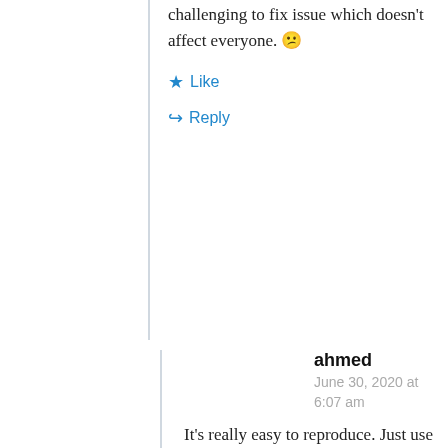challenging to fix issue which doesn't affect everyone. 😕
★ Like
↪ Reply
ahmed
June 30, 2020 at 6:07 am
It's really easy to reproduce. Just use any file-watching application (docker, web